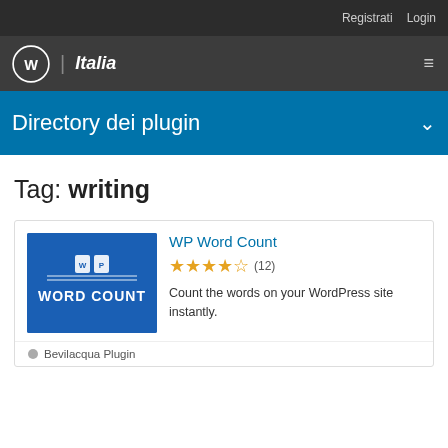Registrati   Login
WP | Italia
Directory dei plugin
Tag: writing
WP Word Count
★★★★½ (12)
Count the words on your WordPress site instantly.
Bevilacqua Plugin